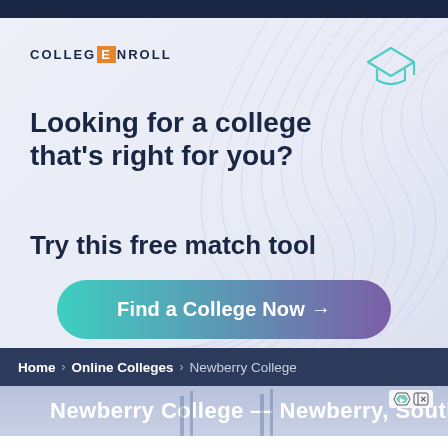[Figure (screenshot): CollegeNroll advertisement banner with logo, headline text 'Looking for a college that’s right for you? Try this free match tool', and a gradient CTA button 'Find a College Now →']
Home > Online Colleges > Newberry College
Newberry College — Newberry, South...